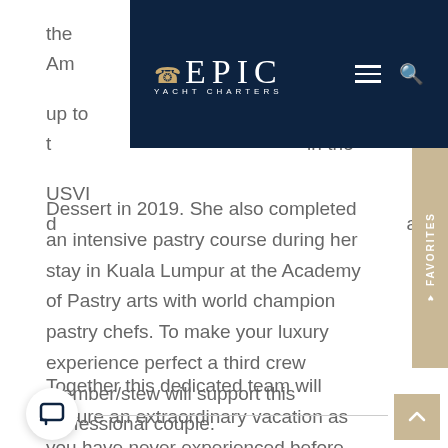[Figure (logo): Epic Yacht Charters navigation bar with logo, hamburger menu and search icon on dark navy background]
the Am...hts up to t...in the USVI d...and Dessert in 2019. She also completed an intensive pastry course during her stay in Kuala Lumpur at the Academy of Pastry arts with world champion pastry chefs. To make your luxury experience perfect a third crew member/stew will support this professional couple.
Together this dedicated team will ensure an extraordinary vacation as you have never experienced before.